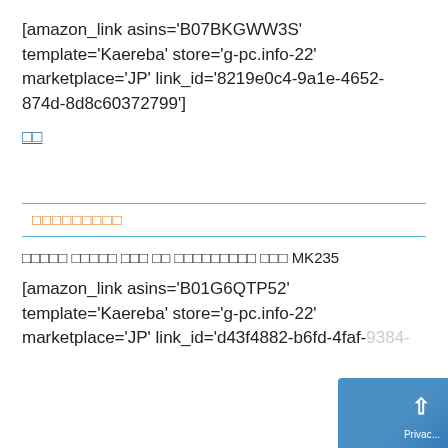[amazon_link asins='B07BKGWW3S' template='Kaereba' store='g-pc.info-22' marketplace='JP' link_id='8219e0c4-9a1e-4652-874d-8d8c60372799']
□□
□□□□□□□□□
□□□□□ □□□□□ □□□ □□ □□□□□□□□□ □□□ MK235
[amazon_link asins='B01G6QTP52' template='Kaereba' store='g-pc.info-22' marketplace='JP' link_id='d43f4882-b6fd-4faf-9384-